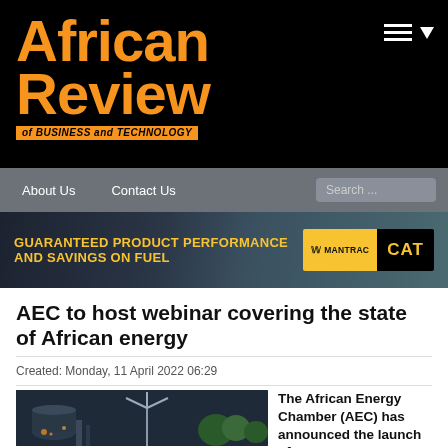African Review of BUSINESS and TECHNOLOGY
AEC to host webinar covering the state of African energy
Created: Monday, 11 April 2022 06:29
[Figure (photo): Industrial energy facility at night with wind turbines and green trees in background]
The African Energy Chamber (AEC) has announced the launch of